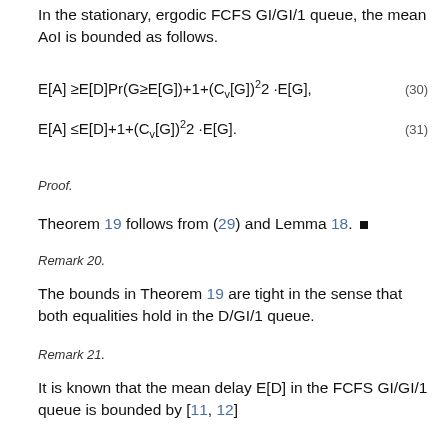In the stationary, ergodic FCFS GI/GI/1 queue, the mean AoI is bounded as follows.
Proof.
Theorem 19 follows from (29) and Lemma 18. ∎
Remark 20.
The bounds in Theorem 19 are tight in the sense that both equalities hold in the D/GI/1 queue.
Remark 21.
It is known that the mean delay E[D] in the FCFS GI/GI/1 queue is bounded by [11, 12]